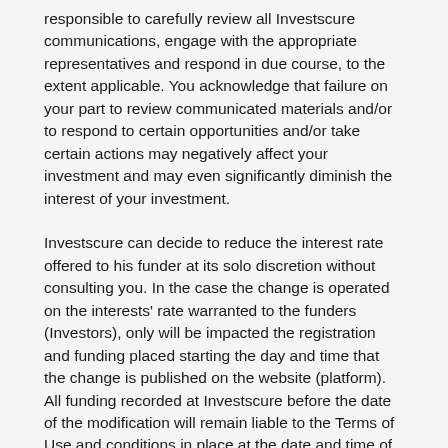responsible to carefully review all Investscure communications, engage with the appropriate representatives and respond in due course, to the extent applicable. You acknowledge that failure on your part to review communicated materials and/or to respond to certain opportunities and/or take certain actions may negatively affect your investment and may even significantly diminish the interest of your investment.
Investscure can decide to reduce the interest rate offered to his funder at its solo discretion without consulting you. In the case the change is operated on the interests' rate warranted to the funders (Investors), only will be impacted the registration and funding placed starting the day and time that the change is published on the website (platform). All funding recorded at Investscure before the date of the modification will remain liable to the Terms of Use and conditions in place at the date and time of the funding registration..
An account can be opened at Investscure without funding; the rate applicable to each account is the rate in force the day and time that your funding get into Investscure business account, usually the same day and time that you validate your payment with Investscure and receive confirmation of funding received followed at least 2 business days later with the confirmation of registration.